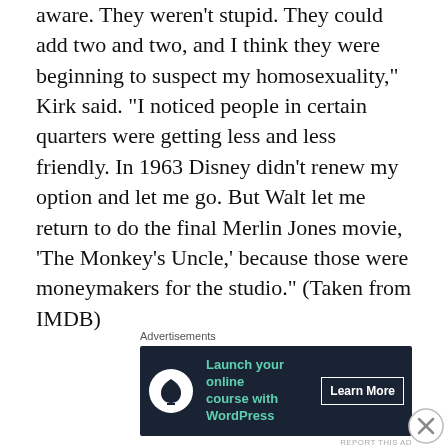aware. They weren't stupid. They could add two and two, and I think they were beginning to suspect my homosexuality," Kirk said. "I noticed people in certain quarters were getting less and less friendly. In 1963 Disney didn't renew my option and let me go. But Walt let me return to do the final Merlin Jones movie, 'The Monkey's Uncle,' because those were moneymakers for the studio." (Taken from IMDB)
[Figure (screenshot): Advertisement banner: dark navy background with a bonsai tree icon, green text 'Launch your online course with WordPress', and a 'Learn More' button]
Kirk said his teen years were a very unhappy time for him. He had also been marked as box office poison after
[Figure (screenshot): Advertisement banner: dark background with pizza image on left, red Seamless logo badge in center, and 'ORDER NOW' button on right]